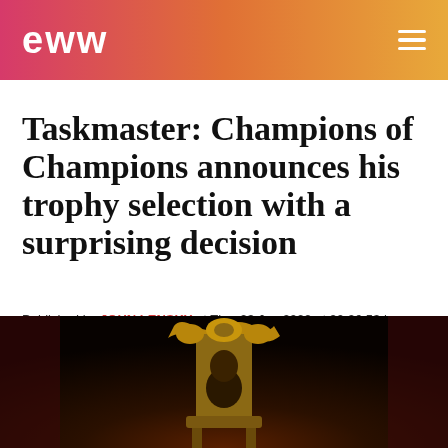EWW
Taskmaster: Champions of Champions announces his trophy selection with a surprising decision
Published by JOHN LENSKY at Thu, 23 Jun 2022 at 20:26:53 | Category: TV
[Figure (photo): Dark photo showing a person seated on an ornate golden throne against a dark red background]